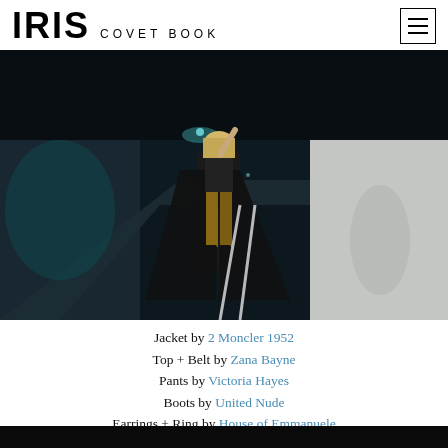IRIS COVET BOOK
[Figure (photo): Fashion editorial photo of a woman with a blonde bob wearing a black strapless corset top, large black cape/jacket, patterned trousers, and black boots, walking on a road tunnel at night with street lights visible in the background and a white wall on the right side.]
Jacket by 2 Moncler 1952
Top + Belt by Zana Bayne
Pants by Victoria Hayes
Boots by United Nude
Earrings + Ring by House of Emmanuele